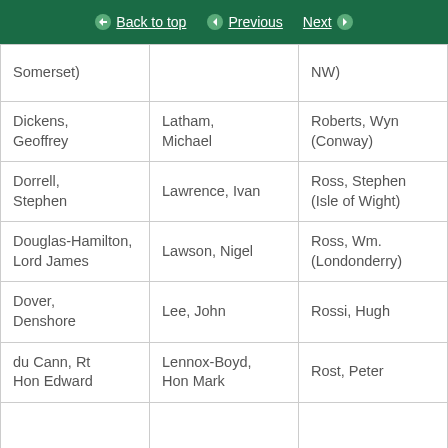Back to top | Previous | Next
| Somerset) |  | NW) |
| Dickens, Geoffrey | Latham, Michael | Roberts, Wyn (Conway) |
| Dorrell, Stephen | Lawrence, Ivan | Ross, Stephen (Isle of Wight) |
| Douglas-Hamilton, Lord James | Lawson, Nigel | Ross, Wm. (Londonderry) |
| Dover, Denshore | Lee, John | Rossi, Hugh |
| du Cann, Rt Hon Edward | Lennox-Boyd, Hon Mark | Rost, Peter |